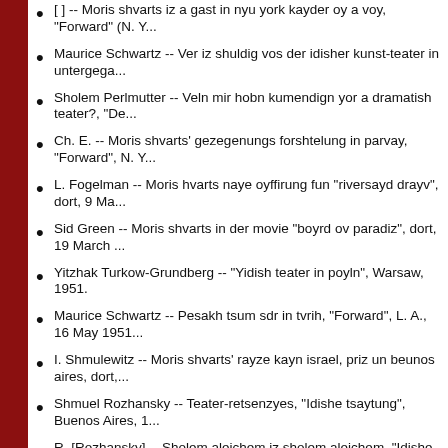[ ] -- Moris shvarts iz a gast in nyu york kayder oy a voy, "Forward" (N. Y...
Maurice Schwartz -- Ver iz shuldig vos der idisher kunst-teater in untergega...
Sholem Perlmutter -- Veln mir hobn kumendign yor a dramatish teater?, "De...
Ch. E. -- Moris shvarts' gezegenungs forshtelung in parvay, "Forward", N. Y...
L. Fogelman -- Moris hvarts naye oyffirung fun "riversayd drayv", dort, 9 Ma...
Sid Green -- Moris shvarts in der movie "boyrd ov paradiz", dort, 19 March ...
Yitzhak Turkow-Grundberg -- "Yidish teater in poyln", Warsaw, 1951.
Maurice Schwartz -- Pesakh tsum sdr in tvrih, "Forward", L. A., 16 May 1951...
I. Shmulewitz -- Moris shvarts' rayze kayn israel, priz un beunos aires, dort,...
Shmuel Rozhansky -- Teater-retsenzyes, "Idishe tsaytung", Buenos Aires, 1...
R. [Rozhansky] -- Sholem aleichem iz sholem aleichem, "Idishe tsaytung", ...
Maurice Schwartz -- Mayne akht viziten in buenos aires, dort, 23 October 19...
N. Buchwald -- Moris shvarts -- der doktor fun krankn idishn teater, "Morge...